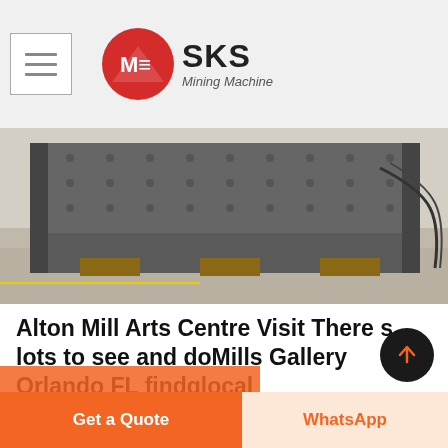[Figure (logo): SKS Mining Machine logo with red circular icon and text]
[Figure (photo): Industrial mining equipment - large metal vibrating screen/conveyor on a factory floor]
Alton Mill Arts Centre Visit There s lots to see and doMills Gallery Orlando FL findglocal
Directory who s at the mill The Alton Mill has several art and fine craft galleries a jewellery design gallery and numerous artists and artisans working in their studios and offering one of a kind piecSOS Art Gallery Local Artisan Handmade Cards Gifts and Artwork N Mills Ave
Get a Quote
WhatsApp